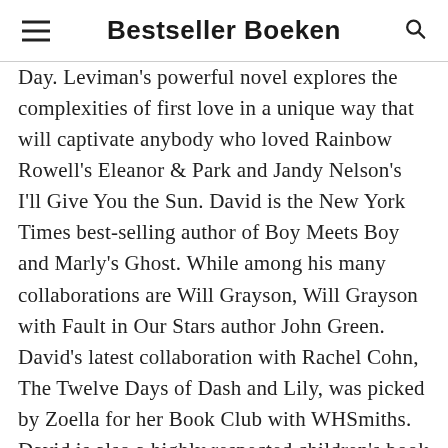Bestseller Boeken
Day. Leviman's powerful novel explores the complexities of first love in a unique way that will captivate anybody who loved Rainbow Rowell's Eleanor & Park and Jandy Nelson's I'll Give You the Sun. David is the New York Times best-selling author of Boy Meets Boy and Marly's Ghost. While among his many collaborations are Will Grayson, Will Grayson with Fault in Our Stars author John Green. David's latest collaboration with Rachel Cohn, The Twelve Days of Dash and Lily, was picked by Zoella for her Book Club with WHSmiths. David is also a highly respected children's book editor, whose list includes many luminaries of children's literature, including Garth Nix, Libba Bray and Suzanne Collins. He lives and